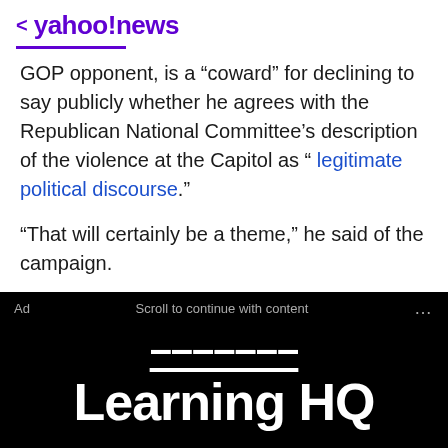< yahoo!news
GOP opponent, is a “coward” for declining to say publicly whether he agrees with the Republican National Committee’s description of the violence at the Capitol as “ legitimate political discourse.”
“That will certainly be a theme,” he said of the campaign.
[Figure (screenshot): Advertisement banner with black background. Top bar reads 'Ad  Scroll to continue with content  ...'. Large white text partially visible at top (cut off), then 'Learning HQ' in large bold white text, followed by 'Get started' at the bottom.]